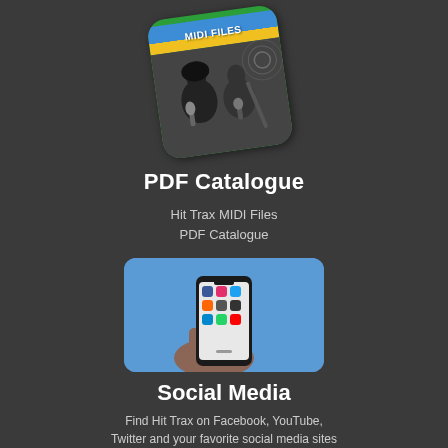[Figure (illustration): MIDI Files app icon showing a rotated green rounded-square card with blue and yellow header bar labeled MIDI FILES and a black-and-white photo of two singers]
PDF Catalogue
Hit Trax MIDI Files
PDF Catalogue
[Figure (photo): A hand holding a smartphone displaying social media app icons on a blue background]
Social Media
Find Hit Trax on Facebook, YouTube, Twitter and your favorite social media sites